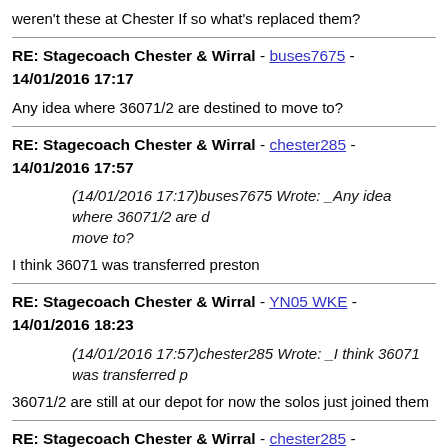weren't these at Chester If so what's replaced them?
RE: Stagecoach Chester & Wirral - buses7675 - 14/01/2016 17:17
Any idea where 36071/2 are destined to move to?
RE: Stagecoach Chester & Wirral - chester285 - 14/01/2016 17:57
(14/01/2016 17:17)buses7675 Wrote: _Any idea where 36071/2 are destined to move to?
I think 36071 was transferred preston
RE: Stagecoach Chester & Wirral - YN05 WKE - 14/01/2016 18:23
(14/01/2016 17:57)chester285 Wrote: _I think 36071 was transferred p
36071/2 are still at our depot for now the solos just joined them
RE: Stagecoach Chester & Wirral - chester285 - 14/01/2016 18:41